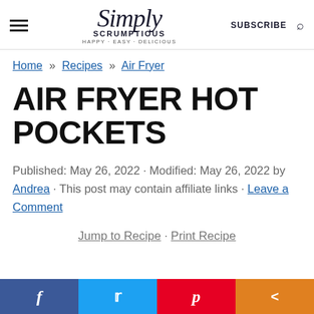Simply Scrumptious · HAPPY · EASY · DELICIOUS | SUBSCRIBE
Home » Recipes » Air Fryer
AIR FRYER HOT POCKETS
Published: May 26, 2022 · Modified: May 26, 2022 by Andrea · This post may contain affiliate links · Leave a Comment
Jump to Recipe · Print Recipe